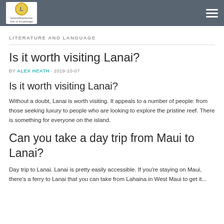laserwithpractice link of knowledge
LITERATURE AND LANGUAGE
Is it worth visiting Lanai?
BY ALEX HEATH · 2019-10-07
Is it worth visiting Lanai?
Without a doubt, Lanai is worth visiting. It appeals to a number of people: from those seeking luxury to people who are looking to explore the pristine reef. There is something for everyone on the island.
Can you take a day trip from Maui to Lanai?
Day trip to Lanai. Lanai is pretty easily accessible. If you're staying on Maui, there's a ferry to Lanai that you can take from Lahaina in West Maui to get it...